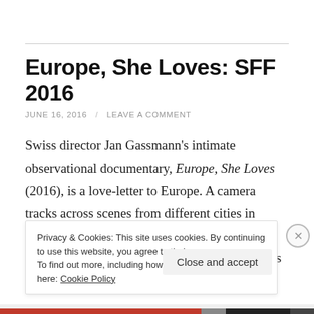Europe, She Loves: SFF 2016
JUNE 16, 2016 / LEAVE A COMMENT
Swiss director Jan Gassmann's intimate observational documentary, Europe, She Loves (2016), is a love-letter to Europe. A camera tracks across scenes from different cities in Europe, as if seen from the back window of a passing car, celebrating the ease with which this pan-
Privacy & Cookies: This site uses cookies. By continuing to use this website, you agree to their use.
To find out more, including how to control cookies, see here: Cookie Policy

Close and accept